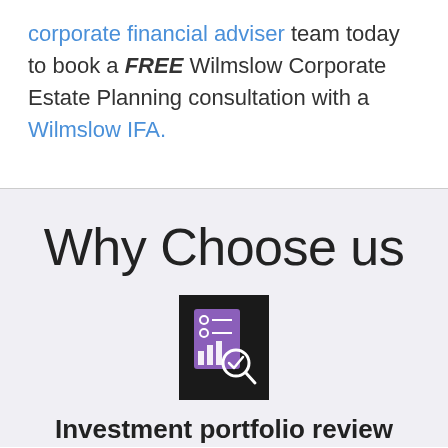corporate financial adviser team today to book a FREE Wilmslow Corporate Estate Planning consultation with a Wilmslow IFA.
Why Choose us
[Figure (illustration): Icon depicting investment portfolio review — a document with bar charts and a magnifying glass with a checkmark, white illustration on purple background inside a black box.]
Investment portfolio review